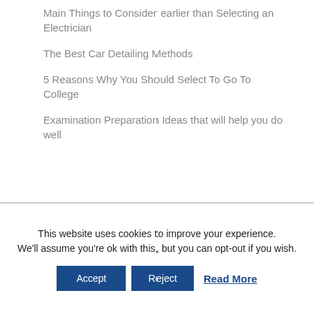Main Things to Consider earlier than Selecting an Electrician
The Best Car Detailing Methods
5 Reasons Why You Should Select To Go To College
Examination Preparation Ideas that will help you do well
This website uses cookies to improve your experience. We'll assume you're ok with this, but you can opt-out if you wish.
Accept | Reject | Read More